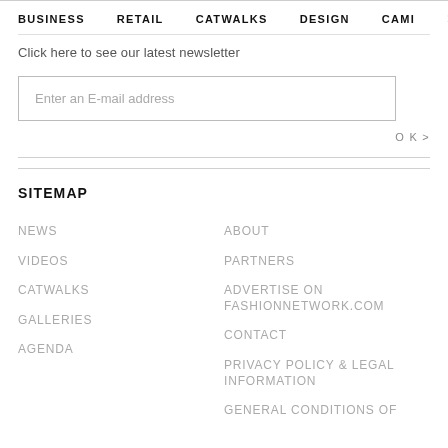BUSINESS    RETAIL    CATWALKS    DESIGN    CAMI  >
Click here to see our latest newsletter
Enter an E-mail address
OK >
SITEMAP
NEWS
VIDEOS
CATWALKS
GALLERIES
AGENDA
ABOUT
PARTNERS
ADVERTISE ON FASHIONNETWORK.COM
CONTACT
PRIVACY POLICY & LEGAL INFORMATION
GENERAL CONDITIONS OF